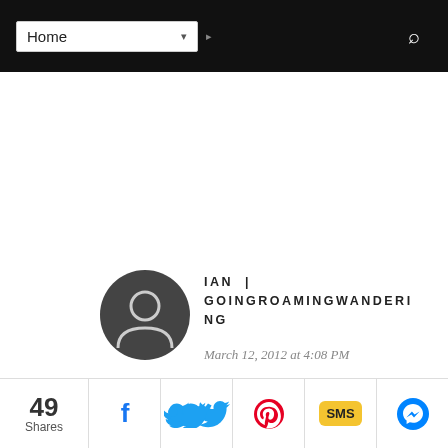Home (navigation bar with dropdown and search icon)
[Figure (illustration): Circular avatar with silhouette of a person on dark grey background]
IAN | GOINGROAMINGWANDERING
March 12, 2012 at 4:08 PM
Now I'm learning how to capture this beautiful
49 Shares
[Figure (screenshot): Social share bar with Facebook, Twitter, Pinterest, SMS, and Messenger buttons]